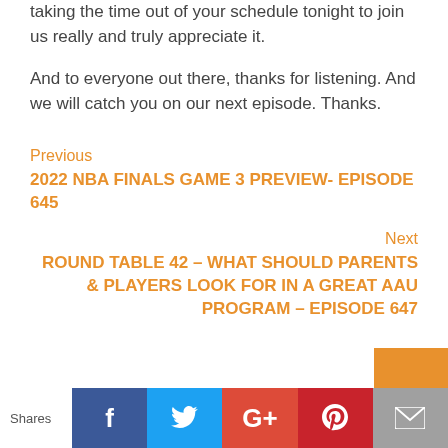taking the time out of your schedule tonight to join us really and truly appreciate it.
And to everyone out there, thanks for listening. And we will catch you on our next episode. Thanks.
Previous
2022 NBA FINALS GAME 3 PREVIEW- EPISODE 645
Next
ROUND TABLE 42 – WHAT SHOULD PARENTS & PLAYERS LOOK FOR IN A GREAT AAU PROGRAM – EPISODE 647
Shares | Facebook | Twitter | Google+ | Pinterest | Email